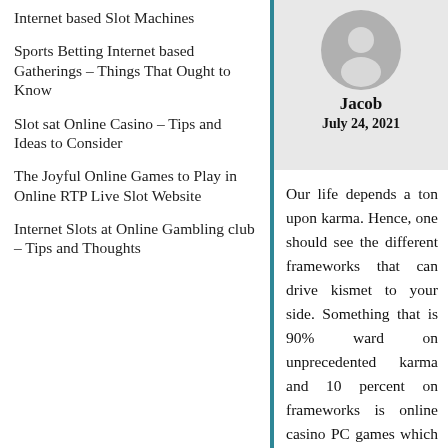Internet based Slot Machines
Sports Betting Internet based Gatherings – Things That Ought to Know
Slot sat Online Casino – Tips and Ideas to Consider
The Joyful Online Games to Play in Online RTP Live Slot Website
Internet Slots at Online Gambling club – Tips and Thoughts
[Figure (illustration): Generic user avatar icon: white silhouette of a person on a gray circle background]
Jacob
July 24, 2021
Our life depends a ton upon karma. Hence, one should see the different frameworks that can drive kismet to your side. Something that is 90% ward on unprecedented karma and 10 percent on frameworks is online casino PC games which one can as of now play from the work spaces of one's home. The whole of the one necessities is a PC and